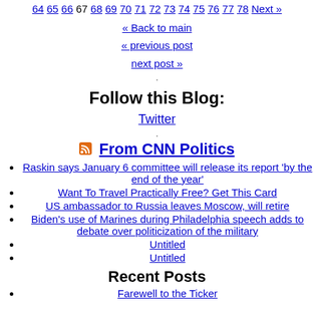64 65 66 67 68 69 70 71 72 73 74 75 76 77 78 Next »
« Back to main
« previous post
next post »
Follow this Blog:
Twitter
From CNN Politics
Raskin says January 6 committee will release its report 'by the end of the year'
Want To Travel Practically Free? Get This Card
US ambassador to Russia leaves Moscow, will retire
Biden's use of Marines during Philadelphia speech adds to debate over politicization of the military
Untitled
Untitled
Recent Posts
Farewell to the Ticker